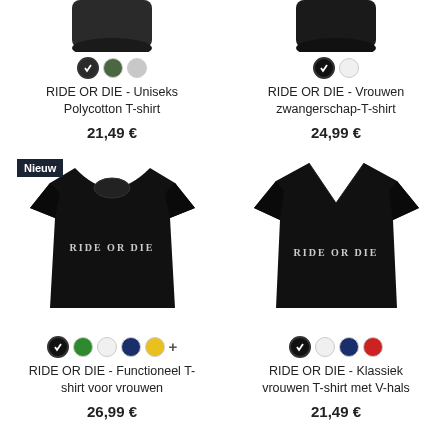[Figure (photo): Partial top of black Uniseks Polycotton T-shirt, cropped]
[Figure (photo): Partial top of black Vrouwen zwangerschap-T-shirt, cropped]
RIDE OR DIE - Uniseks Polycotton T-shirt
21,49 €
RIDE OR DIE - Vrouwen zwangerschap-T-shirt
24,99 €
[Figure (photo): Black women functional T-shirt with RIDE OR DIE text, Nieuw badge]
[Figure (photo): Black women classic V-neck T-shirt with RIDE OR DIE text]
RIDE OR DIE - Functioneel T-shirt voor vrouwen
26,99 €
RIDE OR DIE - Klassiek vrouwen T-shirt met V-hals
21,49 €